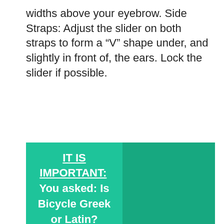widths above your eyebrow. Side Straps: Adjust the slider on both straps to form a “V” shape under, and slightly in front of, the ears. Lock the slider if possible.
IT IS IMPORTANT: You asked: Is Bicycle Greek or Latin?